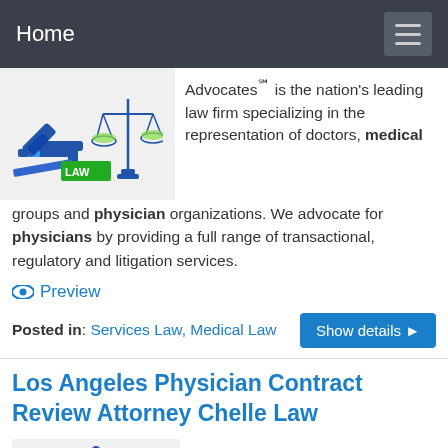Home
Advocates℠ is the nation's leading law firm specializing in the representation of doctors, medical groups and physician organizations. We advocate for physicians by providing a full range of transactional, regulatory and litigation services.
Preview
Posted in: Services Law, Medical Law
Los Angeles Physician Contract Review Attorney Chelle Law
Consultation with a Los Angeles Physician Contract Review Attorney! Results oriented